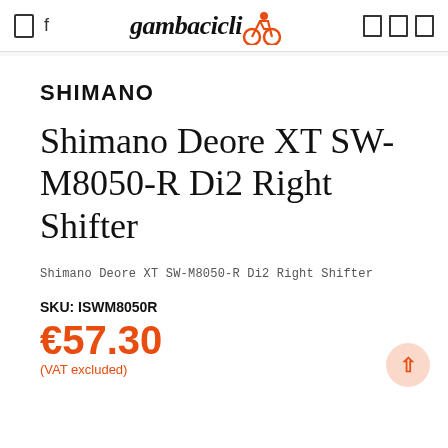gambacicli [logo with cyclist icon]
SHIMANO
Shimano Deore XT SW-M8050-R Di2 Right Shifter
Shimano Deore XT SW-M8050-R Di2 Right Shifter
SKU: ISWM8050R
€57.30
(VAT excluded)